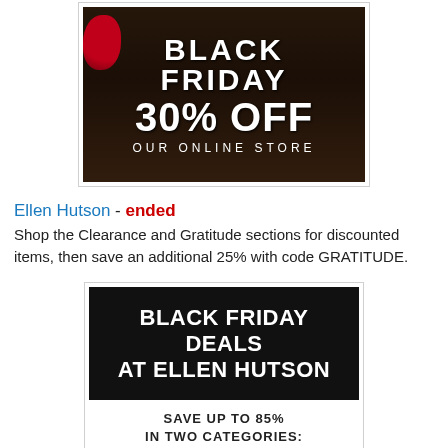[Figure (photo): Black Friday promotional banner showing '30% OFF OUR ONLINE STORE' text on dark background with holiday decorations]
Ellen Hutson - ended
Shop the Clearance and Gratitude sections for discounted items, then save an additional 25% with code GRATITUDE.
[Figure (photo): Black Friday Deals at Ellen Hutson banner with 'SAVE UP TO 85% IN TWO CATEGORIES:' text]